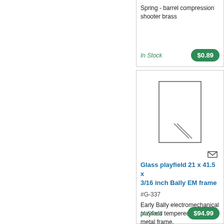Spring - barrel compression shooter brass
In Stock
$0.89
[Figure (illustration): Product image of glass playfield - rectangular glass pane with diagonal scratch lines visible]
Glass playfield 21 x 41.5 x 3/16 inch Bally EM frame
#G-337
Early Bally electromechanical playfield tempered glass for metal frame.
In Stock
$94.99
Pi...
Out...